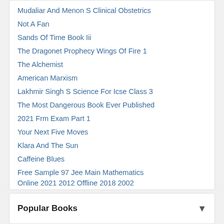Mudaliar And Menon S Clinical Obstetrics
Not A Fan
Sands Of Time Book Iii
The Dragonet Prophecy Wings Of Fire 1
The Alchemist
American Marxism
Lakhmir Singh S Science For Icse Class 3
The Most Dangerous Book Ever Published
2021 Frm Exam Part 1
Your Next Five Moves
Klara And The Sun
Caffeine Blues
Free Sample 97 Jee Main Mathematics Online 2021 2012 Offline 2018 2002 Chapterwise Topicwise Solved Papers 5th Edition
The High 5 Habit
Popular Books